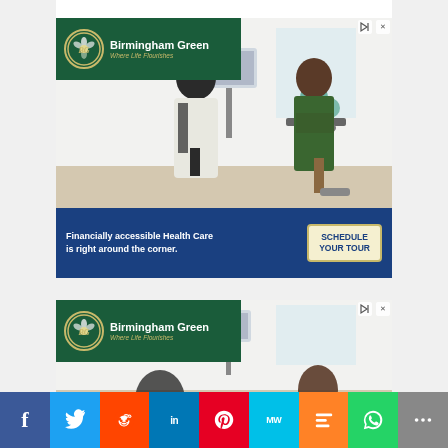[Figure (other): Birmingham Green healthcare advertisement banner. Shows a healthcare professional and elderly patient using exercise equipment in a clinical setting. Dark green header with 'BG Birmingham Green Where Life Flourishes' logo. Blue bottom bar with text 'Financially accessible Health Care is right around the corner.' and a 'SCHEDULE YOUR TOUR' button.]
[Figure (other): Partial second instance of Birmingham Green advertisement banner (cropped), showing only the header logo portion and partial photo.]